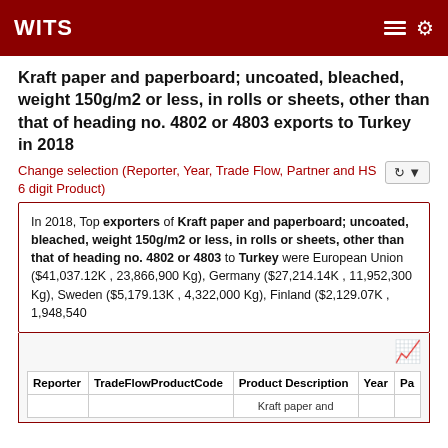WITS
Kraft paper and paperboard; uncoated, bleached, weight 150g/m2 or less, in rolls or sheets, other than that of heading no. 4802 or 4803 exports to Turkey in 2018
Change selection (Reporter, Year, Trade Flow, Partner and HS 6 digit Product)
In 2018, Top exporters of Kraft paper and paperboard; uncoated, bleached, weight 150g/m2 or less, in rolls or sheets, other than that of heading no. 4802 or 4803 to Turkey were European Union ($41,037.12K , 23,866,900 Kg), Germany ($27,214.14K , 11,952,300 Kg), Sweden ($5,179.13K , 4,322,000 Kg), Finland ($2,129.07K , 1,948,540
| Reporter | TradeFlowProductCode | Product Description | Year | Pa |
| --- | --- | --- | --- | --- |
|  |  | Kraft paper and |  |  |